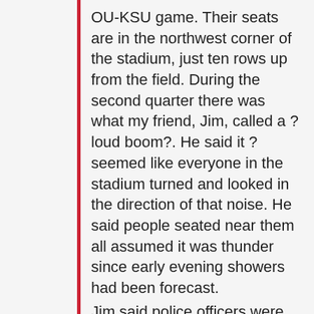OU-KSU game. Their seats are in the northwest corner of the stadium, just ten rows up from the field. During the second quarter there was what my friend, Jim, called a ?loud boom?. He said it ?seemed like everyone in the stadium turned and looked in the direction of that noise. He said people seated near them all assumed it was thunder since early evening showers had been forecast.
Jim said police officers were moving toward the exits, but that fans didn?t pay any attention since officers often move around as they deal with unruly fans or medical emergencies.
As the second half began and people returned from concession stands and